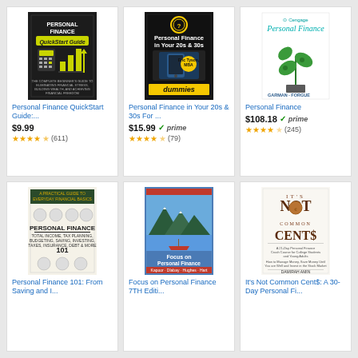[Figure (other): Book cover: Personal Finance QuickStart Guide - dark background with calculator and bar chart icons]
Personal Finance QuickStart Guide:...
$9.99
(611)
[Figure (other): Book cover: Personal Finance in Your 20s & 30s For Dummies - black and yellow dummies style cover]
Personal Finance in Your 20s & 30s For ...
$15.99 prime
(79)
[Figure (other): Book cover: Personal Finance by Garman & Forgue - Cengage, white cover with green plant sprout illustration]
Personal Finance
$108.18 prime
(245)
[Figure (other): Book cover: Personal Finance 101 - illustrated textbook style cover]
Personal Finance 101: From Saving and I...
[Figure (other): Book cover: Focus on Personal Finance 7TH Edition - mountain lake landscape cover]
Focus on Personal Finance 7TH Editi...
[Figure (other): Book cover: It's Not Common Cents: A 30-Day Personal Finance book]
It's Not Common Cent$: A 30-Day Personal Fi...